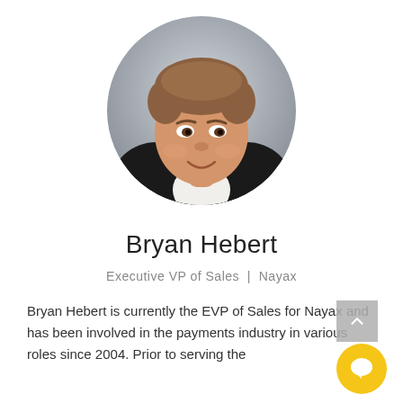[Figure (photo): Circular headshot photo of Bryan Hebert, a man in a dark blazer and white shirt, smiling, with short brown hair, against a gray gradient background.]
Bryan Hebert
Executive VP of Sales  |  Nayax
Bryan Hebert is currently the EVP of Sales for Nayax and has been involved in the payments industry in various roles since 2004. Prior to serving the